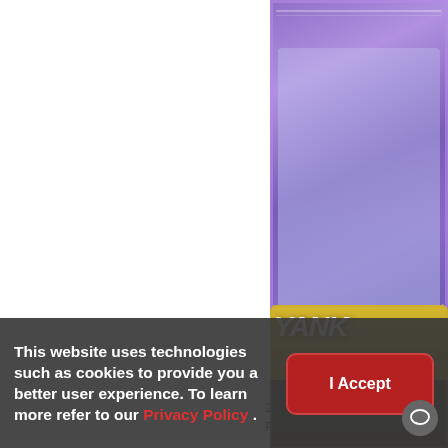[Figure (photo): Partially visible baseball card - 2019 Topps Inception Purple #88, Gerrit Cole, with purple background sketch art]
2019 Topps Inception Purple #88
Gerrit Cole #/150
2 from $7.44
[Figure (photo): Partially visible baseball card with yellow/gold Yankees themed design]
This website uses technologies such as cookies to provide you a better user experience. To learn more refer to our Privacy Policy .
I Accept